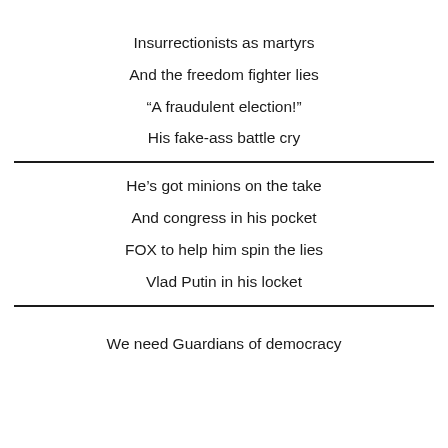Insurrectionists as martyrs
And the freedom fighter lies
“A fraudulent election!”
His fake-ass battle cry
He’s got minions on the take
And congress in his pocket
FOX to help him spin the lies
Vlad Putin in his locket
We need Guardians of democracy